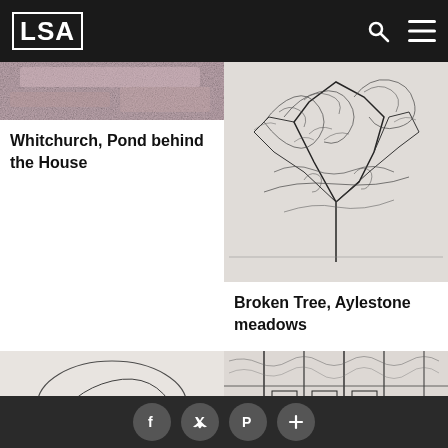LSA
[Figure (photo): Partial view of artwork - Whitchurch, Pond behind the House (top portion cropped)]
Whitchurch, Pond behind the House
[Figure (illustration): Dark detailed drawing of a broken tree - Broken Tree, Aylestone meadows]
Broken Tree, Aylestone meadows
[Figure (illustration): Dark detailed drawing of a tree with curling branches - bottom left artwork]
[Figure (illustration): Dark detailed drawing of an interior scene - bottom right artwork]
Social share icons: Facebook, Twitter, Pinterest, More